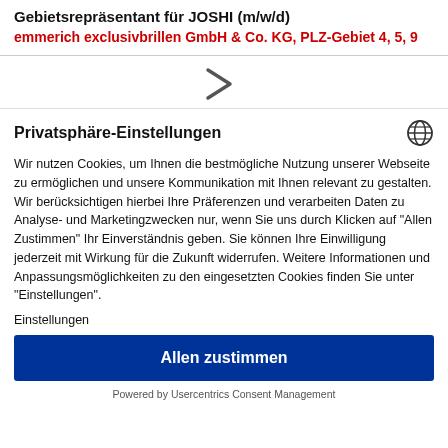Gebietsrepräsentant für JOSHI (m/w/d)
emmerich exclusivbrillen GmbH & Co. KG, PLZ-Gebiet 4, 5, 9
[Figure (illustration): Arrow/chevron icon pointing right]
Privatsphäre-Einstellungen
Wir nutzen Cookies, um Ihnen die bestmögliche Nutzung unserer Webseite zu ermöglichen und unsere Kommunikation mit Ihnen relevant zu gestalten. Wir berücksichtigen hierbei Ihre Präferenzen und verarbeiten Daten zu Analyse- und Marketingzwecken nur, wenn Sie uns durch Klicken auf "Allen Zustimmen" Ihr Einverständnis geben. Sie können Ihre Einwilligung jederzeit mit Wirkung für die Zukunft widerrufen. Weitere Informationen und Anpassungsmöglichkeiten zu den eingesetzten Cookies finden Sie unter "Einstellungen".
Einstellungen
Allen zustimmen
Powered by Usercentrics Consent Management